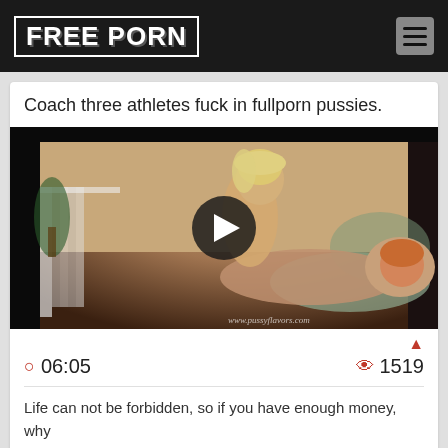FREE PORN
Coach three athletes fuck in fullporn pussies.
[Figure (photo): Video thumbnail showing two people on a bed, with a play button overlay. Watermark reads www.pussyflavors.com]
06:05
1519
Life can not be forbidden, so if you have enough money, why